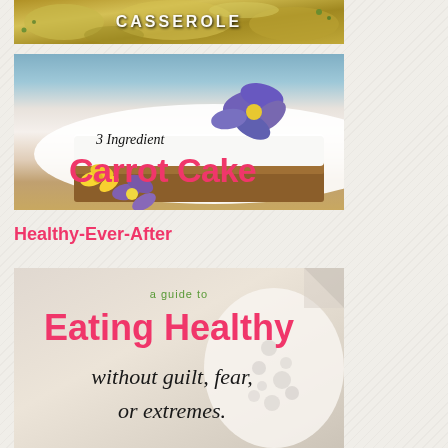[Figure (photo): Close-up photo of a casserole dish with text 'CASSEROLE' overlay in white bold letters]
[Figure (photo): Photo of a slice of carrot cake with white frosting and purple/yellow flowers, with text '3 Ingredient' in black script and 'Carrot Cake' in large pink bold letters]
Healthy-Ever-After
[Figure (photo): Photo of a healthy eating guide book cover showing milk/cream with text 'a guide to', 'Eating Healthy', 'without guilt, fear,', 'or extremes.']